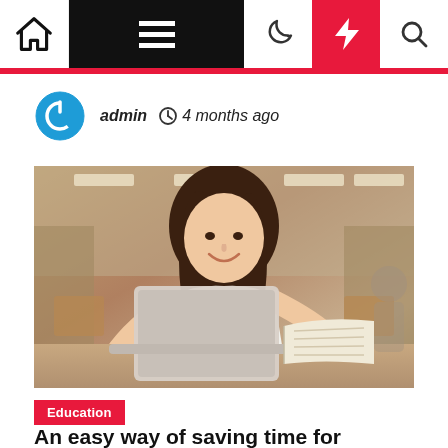admin  4 months ago
[Figure (photo): Young woman studying with a laptop and open book in a library setting]
Education
An easy way of saving time for